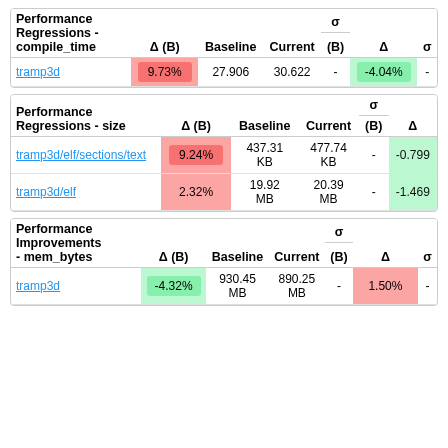| Performance Regressions - compile_time | Δ (B) | Baseline | Current | σ (B) | Δ | σ |
| --- | --- | --- | --- | --- | --- | --- |
| tramp3d | 9.73% | 27.906 | 30.622 | - | -4.04% | - |
| Performance Regressions - size | Δ (B) | Baseline | Current | σ (B) | Δ |
| --- | --- | --- | --- | --- | --- |
| tramp3d/elf/sections/text | 9.24% | 437.31 KB | 477.74 KB | - | -0.799 |
| tramp3d/elf | 2.32% | 19.92 MB | 20.39 MB | - | -1.469 |
| Performance Improvements - mem_bytes | Δ (B) | Baseline | Current | σ (B) | Δ | σ |
| --- | --- | --- | --- | --- | --- | --- |
| tramp3d | -4.32% | 930.45 MB | 890.25 MB | - | 1.50% | - |